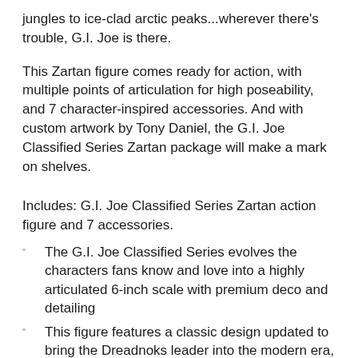jungles to ice-clad arctic peaks...wherever there's trouble, G.I. Joe is there.
This Zartan figure comes ready for action, with multiple points of articulation for high poseability, and 7 character-inspired accessories. And with custom artwork by Tony Daniel, the G.I. Joe Classified Series Zartan package will make a mark on shelves.
Includes: G.I. Joe Classified Series Zartan action figure and 7 accessories.
The G.I. Joe Classified Series evolves the characters fans know and love into a highly articulated 6-inch scale with premium deco and detailing
This figure features a classic design updated to bring the Dreadnoks leader into the modern era, plus accessories inspired by the character's rich history